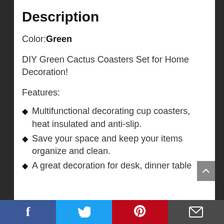Description
Color: Green
DIY Green Cactus Coasters Set for Home Decoration!
Features:
Multifunctional decorating cup coasters, heat insulated and anti-slip.
Save your space and keep your items organize and clean.
A great decoration for desk, dinner table